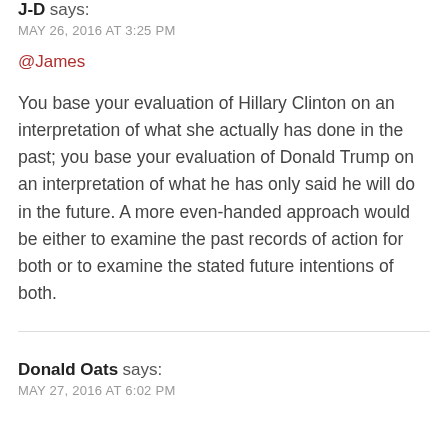J-D says:
MAY 26, 2016 AT 3:25 PM
@James
You base your evaluation of Hillary Clinton on an interpretation of what she actually has done in the past; you base your evaluation of Donald Trump on an interpretation of what he has only said he will do in the future. A more even-handed approach would be either to examine the past records of action for both or to examine the stated future intentions of both.
Donald Oats says:
MAY 27, 2016 AT 6:02 PM